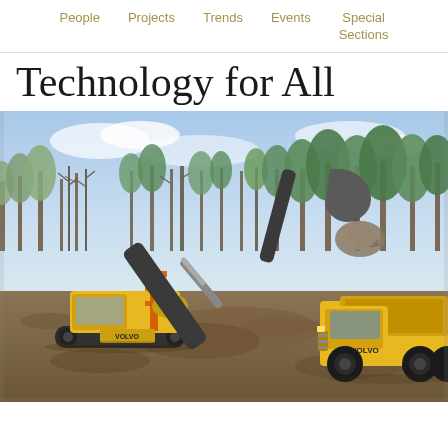People   Projects   Trends   Events   Special Sections
Technology for All
[Figure (photo): Construction site photo showing a yellow Volvo excavator with extended arm/boom against a backdrop of pine trees and blue sky, with a yellow articulated dump truck on the right side. The machines are on a bare dirt/gravel work site.]